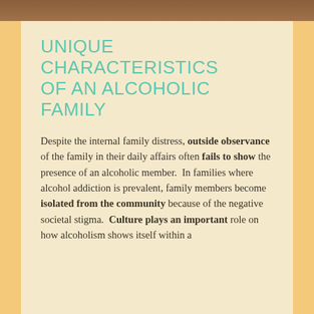[Figure (photo): Decorative top image bar showing wooden surface texture]
UNIQUE CHARACTERISTICS OF AN ALCOHOLIC FAMILY
Despite the internal family distress, outside observance of the family in their daily affairs often fails to show the presence of an alcoholic member.  In families where alcohol addiction is prevalent, family members become isolated from the community because of the negative societal stigma.  Culture plays an important role on how alcoholism shows itself within a